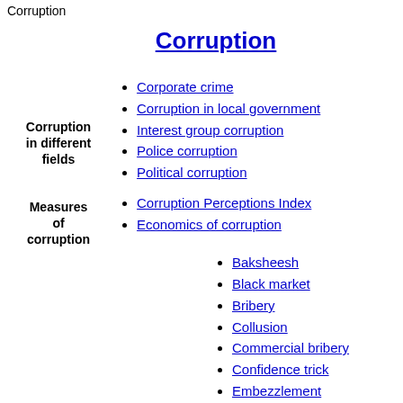Corruption
Corruption
Corruption in different fields
Corporate crime
Corruption in local government
Interest group corruption
Police corruption
Political corruption
Measures of corruption
Corruption Perceptions Index
Economics of corruption
General
Baksheesh
Black market
Bribery
Collusion
Commercial bribery
Confidence trick
Embezzlement
Extortion
Fraud
Graft (politics)
Honest services fraud
Kickback
Match fixing
Money laundering